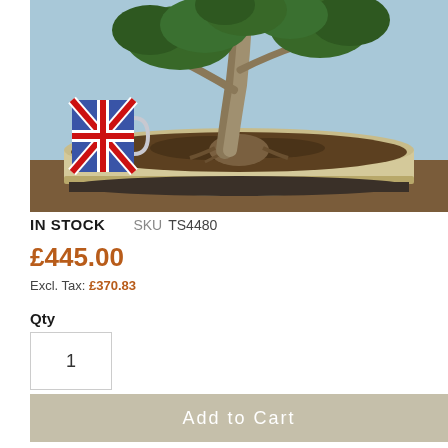[Figure (photo): Photo of a bonsai tree in a cream/beige oval ceramic pot on a wooden surface, with a Union Jack mug visible to the left, against a blue background.]
IN STOCK   SKU TS4480
£445.00
Excl. Tax: £370.83
Qty
1
Add to Cart